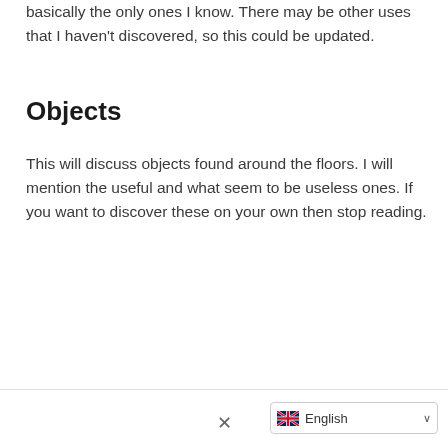basically the only ones I know. There may be other uses that I haven't discovered, so this could be updated.
Objects
This will discuss objects found around the floors. I will mention the useful and what seem to be useless ones. If you want to discover these on your own then stop reading.
English